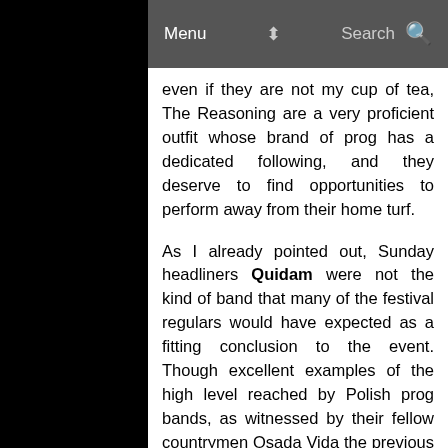Menu   Search
even if they are not my cup of tea, The Reasoning are a very proficient outfit whose brand of prog has a dedicated following, and they deserve to find opportunities to perform away from their home turf.
As I already pointed out, Sunday headliners Quidam were not the kind of band that many of the festival regulars would have expected as a fitting conclusion to the event. Though excellent examples of the high level reached by Polish prog bands, as witnessed by their fellow countrymen Osada Vida the previous day, unlike former headliners such as Renaissance, Pendragon or Nektar they are not a household name – and, as proved by the unfortunate NEARfest cancellation, for many fans the names on the bill are the decisive